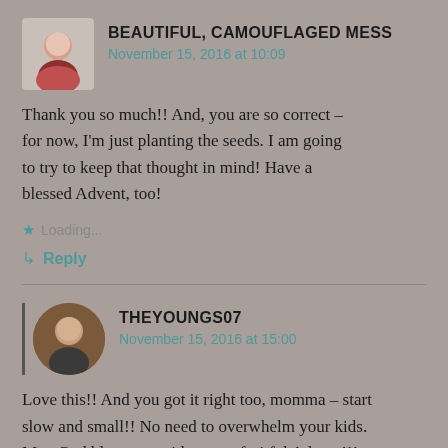BEAUTIFUL, CAMOUFLAGED MESS
November 15, 2016 at 10:09
Thank you so much!! And, you are so correct – for now, I'm just planting the seeds. I am going to try to keep that thought in mind! Have a blessed Advent, too!
Loading...
Reply
THEYOUNGS07
November 15, 2016 at 15:00
Love this!! And you got it right too, momma – start slow and small!! No need to overwhelm your kids. May God bless you with a very fruitful Advent!!!